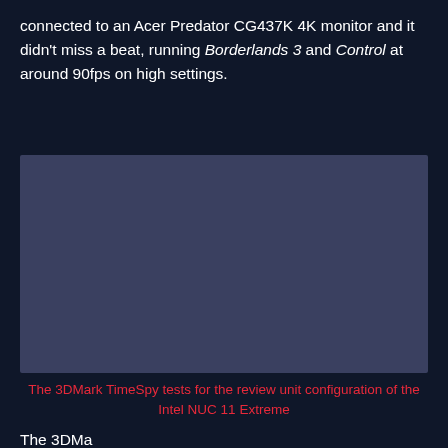connected to an Acer Predator CG437K 4K monitor and it didn't miss a beat, running Borderlands 3 and Control at around 90fps on high settings.
[Figure (photo): A dark blue-gray rectangular image placeholder representing a 3DMark TimeSpy benchmark test screenshot for the Intel NUC 11 Extreme review unit.]
The 3DMark TimeSpy tests for the review unit configuration of the Intel NUC 11 Extreme
The 3DMark benchmarks...